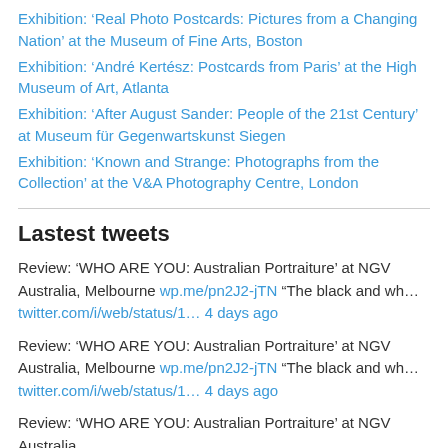Exhibition: 'Real Photo Postcards: Pictures from a Changing Nation' at the Museum of Fine Arts, Boston
Exhibition: 'André Kertész: Postcards from Paris' at the High Museum of Art, Atlanta
Exhibition: 'After August Sander: People of the 21st Century' at Museum für Gegenwartskunst Siegen
Exhibition: 'Known and Strange: Photographs from the Collection' at the V&A Photography Centre, London
Lastest tweets
Review: 'WHO ARE YOU: Australian Portraiture' at NGV Australia, Melbourne wp.me/pn2J2-jTN "The black and wh… twitter.com/i/web/status/1… 4 days ago
Review: 'WHO ARE YOU: Australian Portraiture' at NGV Australia, Melbourne wp.me/pn2J2-jTN "The black and wh… twitter.com/i/web/status/1… 4 days ago
Review: 'WHO ARE YOU: Australian Portraiture' at NGV Australia,